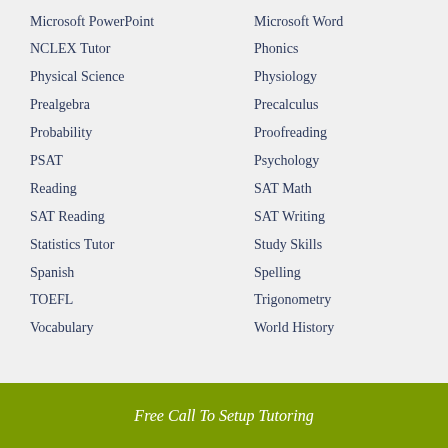Microsoft PowerPoint
Microsoft Word
NCLEX Tutor
Phonics
Physical Science
Physiology
Prealgebra
Precalculus
Probability
Proofreading
PSAT
Psychology
Reading
SAT Math
SAT Reading
SAT Writing
Statistics Tutor
Study Skills
Spanish
Spelling
TOEFL
Trigonometry
Vocabulary
World History
Free Call To Setup Tutoring